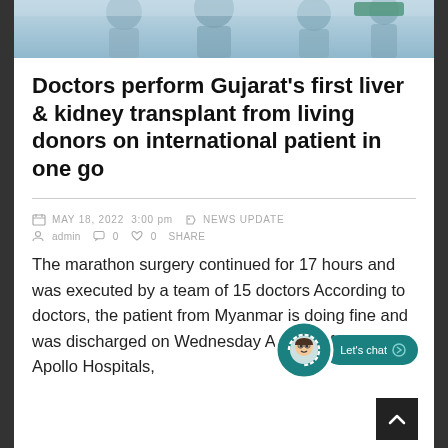[Figure (photo): Top portion of a photo showing people (doctors/medical staff) in a clinical or hospital setting, cropped at the bottom of the image strip.]
Doctors perform Gujarat's first liver & kidney transplant from living donors on international patient in one go
MAY 18, 2022  3:00 pm   NEWS UPDATE   admin  0  0  SHARE
The marathon surgery continued for 17 hours and was executed by a team of 15 doctors According to doctors, the patient from Myanmar is doing fine and was discharged on Wednesday A team of doctors at Apollo Hospitals, Ahmedabad have per...